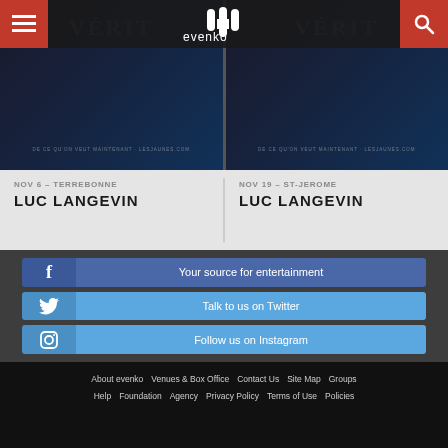[Figure (screenshot): Evenko website header with hamburger menu button on left, evenko logo in center, and search button on right]
[Figure (photo): Two event card images showing Luc Langevin shows with dark background and VERITE text visible]
NOV 6 – TERREBONNE
LUC LANGEVIN
NOV 19 – ST-JEROME
LUC LANGEVIN
Your source for entertainment
Talk to us on Twitter
Follow us on Instagram
About evenko   Venues & Box Office   Contact Us   Site Map   Groups   Help   Foundation   Agency   Privacy Policy   Terms of Use   Policies